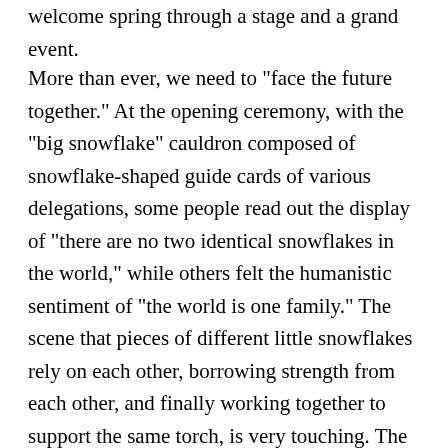welcome spring through a stage and a grand event.
More than ever, we need to "face the future together." At the opening ceremony, with the "big snowflake" cauldron composed of snowflake-shaped guide cards of various delegations, some people read out the display of "there are no two identical snowflakes in the world," while others felt the humanistic sentiment of "the world is one family." The scene that pieces of different little snowflakes rely on each other, borrowing strength from each other, and finally working together to support the same torch, is very touching. The oriental concept of "Every beauty has its uniqueness, and all beauties stay peacefully together" complements the never-ending Olympic fire that originated in Greece, and illuminates the universal value that